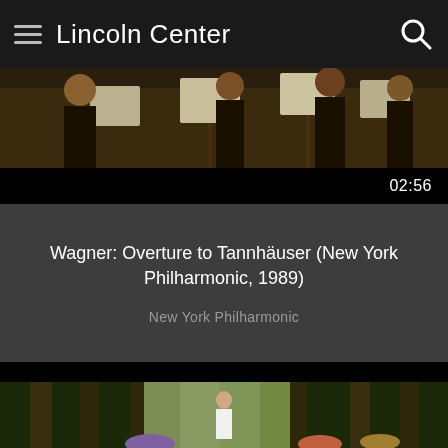Lincoln Center
[Figure (photo): Orchestra musicians viewed from above, playing instruments with sheet music stands visible]
02:56
Wagner: Overture to Tannhäuser (New York Philharmonic, 1989)
New York Philharmonic
[Figure (photo): Woman in white dress playing French horn in a forest with carousel horses and tall trees in background]